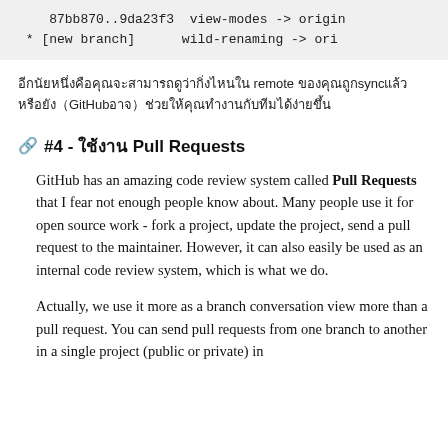87bb870..9da23f3  view-modes -> origin
 * [new branch]      wild-renaming -> ori
（Japanese text about GitHub）
#4 - （Japanese subtitle）
GitHub has an amazing code review system called Pull Requests that I fear not enough people know about. Many people use it for open source work - fork a project, update the project, send a pull request to the maintainer. However, it can also easily be used as an internal code review system, which is what we do.
Actually, we use it more as a branch conversation view more than a pull request. You can send pull requests from one branch to another in a single project (public or private) in